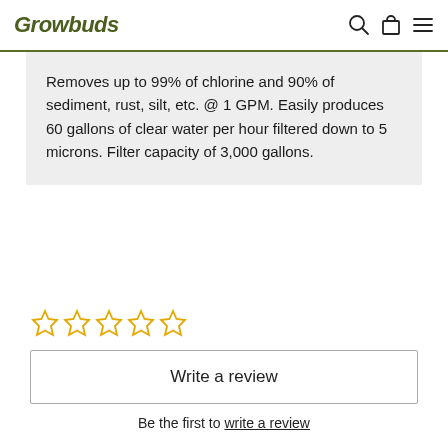Growbuds
Removes up to 99% of chlorine and 90% of sediment, rust, silt, etc. @ 1GPM. Easily produces 60 gallons of clear water per hour filtered down to 5 microns. Filter capacity of 3,000 gallons.
[Figure (other): Five empty star rating icons in gold/yellow outline]
Write a review
Be the first to write a review